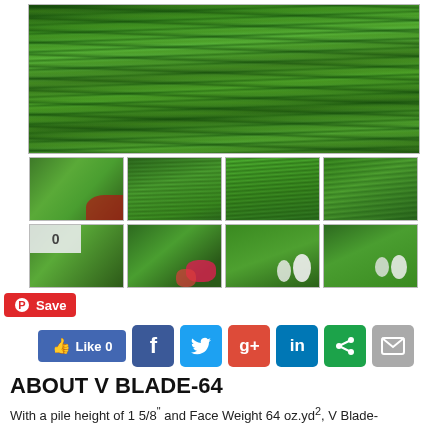[Figure (photo): Large main photo of lush dark green artificial grass/turf close-up]
[Figure (photo): Grid of 8 thumbnail photos showing various artificial grass/turf installations, some with flowers]
[Figure (infographic): Pinterest Save button (red), Facebook Like button, and social share icons: Facebook, Twitter, Google+, LinkedIn, Share, Email]
ABOUT V BLADE-64
With a pile height of 1 5/8" and Face Weight 64 oz.yd2, V Blade-